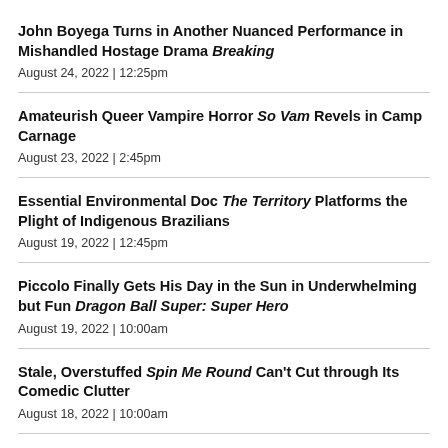John Boyega Turns in Another Nuanced Performance in Mishandled Hostage Drama Breaking
August 24, 2022  |  12:25pm
Amateurish Queer Vampire Horror So Vam Revels in Camp Carnage
August 23, 2022  |  2:45pm
Essential Environmental Doc The Territory Platforms the Plight of Indigenous Brazilians
August 19, 2022  |  12:45pm
Piccolo Finally Gets His Day in the Sun in Underwhelming but Fun Dragon Ball Super: Super Hero
August 19, 2022  |  10:00am
Stale, Overstuffed Spin Me Round Can't Cut through Its Comedic Clutter
August 18, 2022  |  10:00am
The Legend of Molly Johnson Is A Fiercely Feminist